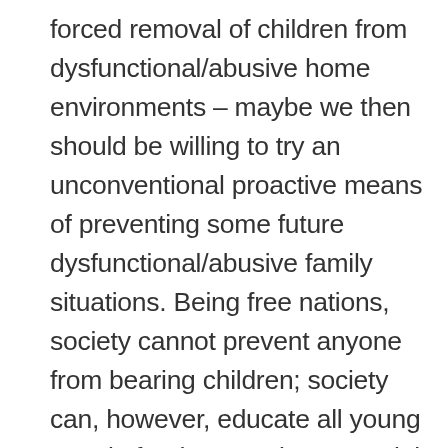forced removal of children from dysfunctional/abusive home environments – maybe we then should be willing to try an unconventional proactive means of preventing some future dysfunctional/abusive family situations. Being free nations, society cannot prevent anyone from bearing children; society can, however, educate all young people for the most important job ever, even those high-schoolers who plan to always remain childless. ... Mindlessly minding our own business on this matter has long proven so humanly